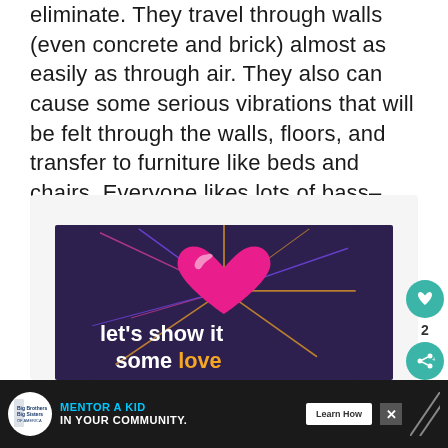eliminate. They travel through walls (even concrete and brick) almost as easily as through air. They also can cause some serious vibrations that will be felt through the walls, floors, and transfer to furniture like beds and chairs. Everyone likes lots of bass–right?
[Figure (illustration): Dark purple background image with a large pink heart graphic and colorful radiating lines. Bold white text reads 'let's show it some love' with 'love' in orange/gold.]
[Figure (infographic): Advertisement bar: Big Brothers Big Sisters logo, text 'MENTOR A KID IN YOUR COMMUNITY.', Learn How button, close button, and decorative patterns.]